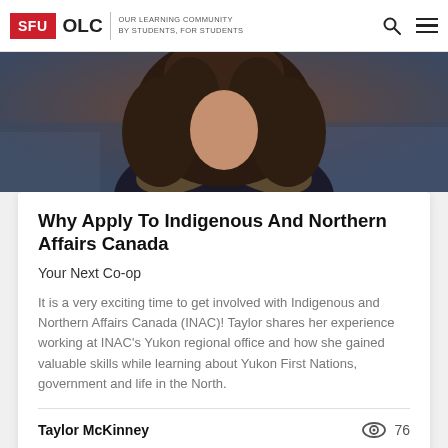SFU OLC | OUR LEARNING COMMUNITY BY STUDENTS, FOR STUDENTS
[Figure (photo): Photo of a woman with long curly dark hair wearing a dark jacket with fur collar, outdoors with a blurred background]
Why Apply To Indigenous And Northern Affairs Canada
Your Next Co-op
It is a very exciting time to get involved with Indigenous and Northern Affairs Canada (INAC)! Taylor shares her experience working at INAC's Yukon regional office and how she gained valuable skills while learning about Yukon First Nations, government and life in the North.
Taylor McKinney
76